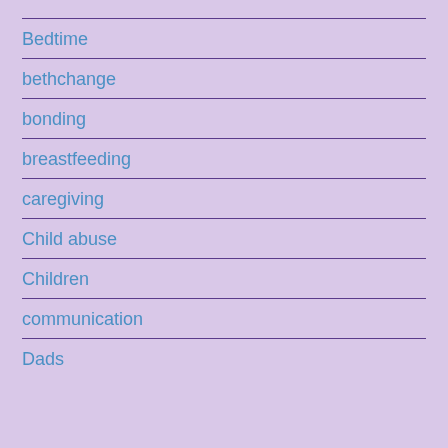Bedtime
bethchange
bonding
breastfeeding
caregiving
Child abuse
Children
communication
Dads